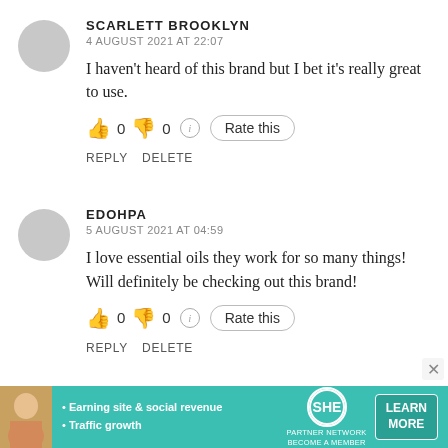SCARLETT BROOKLYN
4 AUGUST 2021 AT 22:07
I haven't heard of this brand but I bet it's really great to use.
[Figure (other): Thumbs up emoji, 0, thumbs down emoji, 0, info circle, Rate this button]
REPLY  DELETE
EDOHPA
5 AUGUST 2021 AT 04:59
I love essential oils they work for so many things! Will definitely be checking out this brand!
[Figure (other): Thumbs up emoji, 0, thumbs down emoji, 0, info circle, Rate this button]
REPLY  DELETE
[Figure (other): SHE Partner Network advertisement banner with woman photo, bullet points: Earning site & social revenue, Traffic growth, and Learn More button]